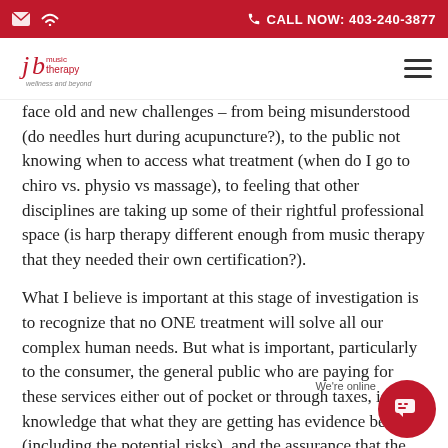CALL NOW: 403-240-3877
[Figure (logo): JB Music Therapy logo — 'jb music therapy, wellness and beyond']
face old and new challenges – from being misunderstood (do needles hurt during acupuncture?), to the public not knowing when to access what treatment (when do I go to chiro vs. physio vs massage), to feeling that other disciplines are taking up some of their rightful professional space (is harp therapy different enough from music therapy that they needed their own certification?).
What I believe is important at this stage of investigation is to recognize that no ONE treatment will solve all our complex human needs. But what is important, particularly to the consumer, the general public who are paying for these services either out of pocket or through taxes, is the knowledge that what they are getting has evidence be (including the potential risks), and the assurance that the